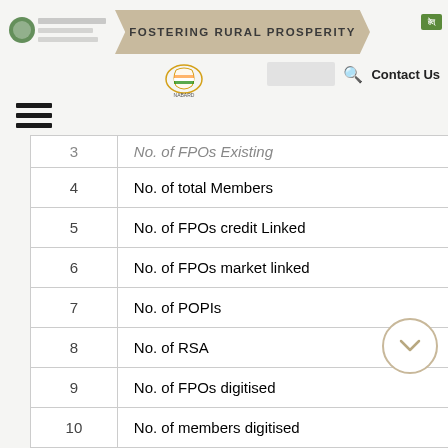FOSTERING RURAL PROSPERITY
| # | Description | Value |
| --- | --- | --- |
| 3 | No. of FPOs Existing | 82... |
| 4 | No. of total Members | 13... |
| 5 | No. of FPOs credit Linked | 80... |
| 6 | No. of FPOs market linked | 210... |
| 7 | No. of POPIs | 13... |
| 8 | No. of RSA | 22... |
| 9 | No. of FPOs digitised | 38... |
| 10 | No. of members digitised | 125... |